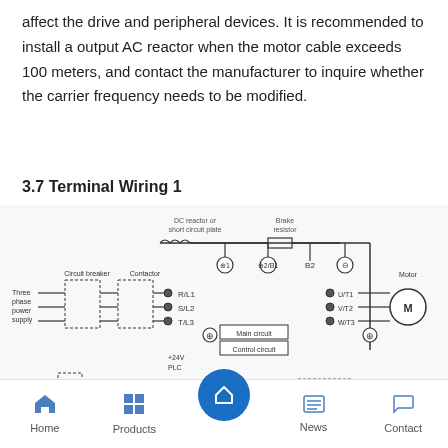affect the drive and peripheral devices. It is recommended to install a output AC reactor when the motor cable exceeds 100 meters, and contact the manufacturer to inquire whether the carrier frequency needs to be modified.
3.7 Terminal Wiring 1
[Figure (circuit-diagram): Terminal wiring diagram showing three-phase power supply connected through circuit breaker and contactor to drive terminals R/L1, S/L2, T/L3. DC reactor or short circuit plate and Brake resistor connected at top. Main circuit outputs U/T1, V/T2, W/T3 to motor M. Control circuit shows digital inputs 1-7 (X1-X7), +24V, PLC, COM terminals on left side. Analog outputs AO1 and AO2 (DCO~10V / DC0~20mA), GND on right side. Relay output 250V AC/1A shown at bottom right.]
Home  Products  [center button]  News  Contact